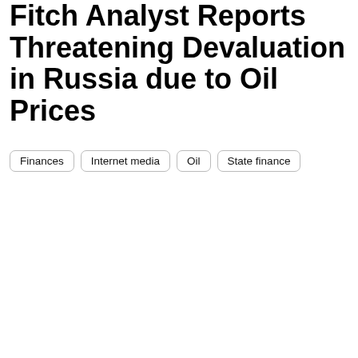Fitch Analyst Reports Threatening Devaluation in Russia due to Oil Prices
Finances
Internet media
Oil
State finance